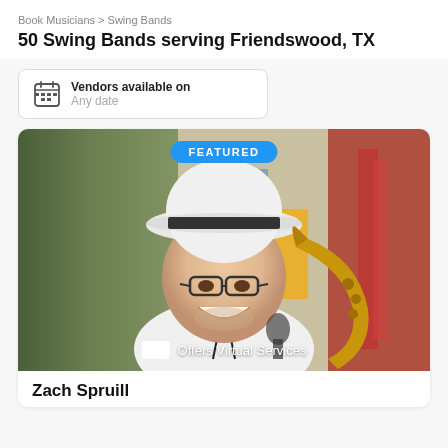Book Musicians > Swing Bands
50 Swing Bands serving Friendswood, TX
Vendors available on
Any date
[Figure (photo): Featured listing card showing a smiling man wearing a white fedora hat with black band and glasses, holding a gold saxophone. He wears a white shirt with a lanyard. Background shows green foliage and a building with a yellow door and red decorations. A 'FEATURED' blue badge appears at the top center and 'Offers Virtual Services' badge at the bottom.]
Zach Spruill